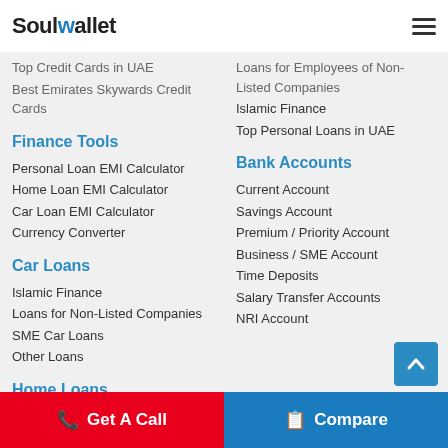SoulWallet
Top Credit Cards in UAE
Best Emirates Skywards Credit Cards
Finance Tools
Personal Loan EMI Calculator
Home Loan EMI Calculator
Car Loan EMI Calculator
Currency Converter
Car Loans
Islamic Finance
Loans for Non-Listed Companies
SME Car Loans
Other Loans
Home Loans
UAE National Loans
Loans for Employees of Non-Listed Companies
Islamic Finance
Top Personal Loans in UAE
Bank Accounts
Current Account
Savings Account
Premium / Priority Account
Business / SME Account
Time Deposits
Salary Transfer Accounts
NRI Account